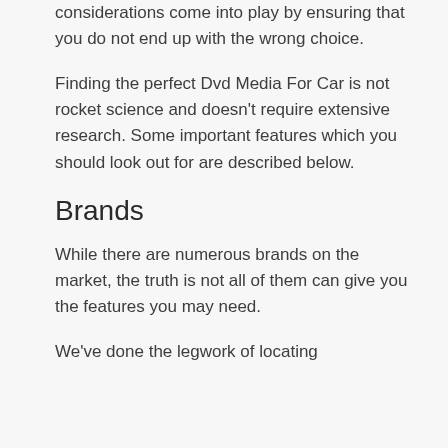considerations come into play by ensuring that you do not end up with the wrong choice.
Finding the perfect Dvd Media For Car is not rocket science and doesn't require extensive research. Some important features which you should look out for are described below.
Brands
While there are numerous brands on the market, the truth is not all of them can give you the features you may need.
We've done the legwork of locating